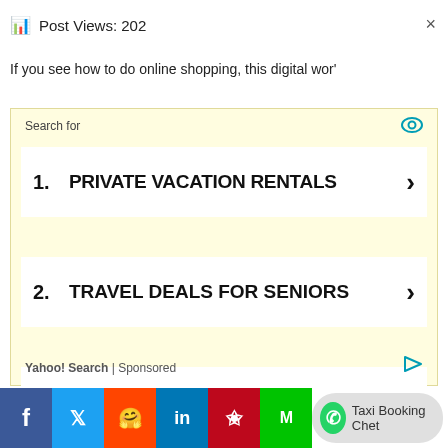Post Views: 202
If you see how to do online shopping, this digital wor'
[Figure (screenshot): Yahoo Search sponsored ad unit with yellow background listing three search results: 1. PRIVATE VACATION RENTALS, 2. TRAVEL DEALS FOR SENIORS, 3. LUXURY VILLA RENTALS. Footer shows Yahoo! Search | Sponsored.]
[Figure (infographic): Social sharing bar at bottom with Facebook, Twitter, Reddit, LinkedIn, Pinterest, Mix icons and a Taxi Booking Chat button with WhatsApp icon.]